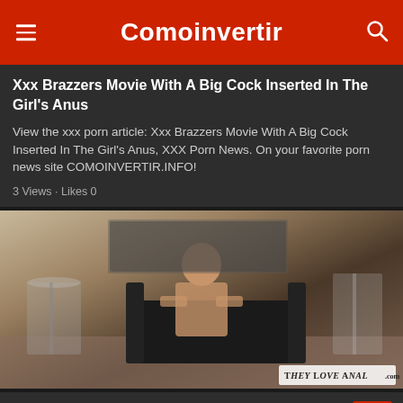Comoinvertir
Xxx Brazzers Movie With A Big Cock Inserted In The Girl's Anus
View the xxx porn article: Xxx Brazzers Movie With A Big Cock Inserted In The Girl's Anus, XXX Porn News. On your favorite porn news site COMOINVERTIR.INFO!
3 Views · Likes 0
[Figure (photo): A person seated on a black leather chair/sofa in a studio setting. A watermark reading 'THEY LOVE ANAL .com' is in the bottom right.]
When You Find Out That A Friend's Milf Is An Anal Whore